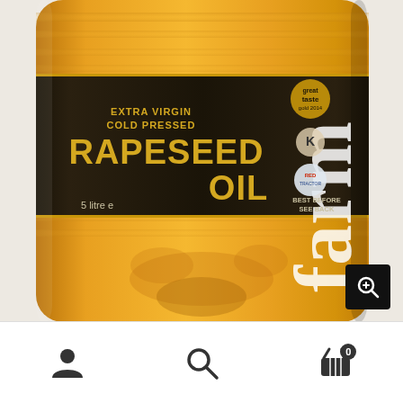[Figure (photo): A 5-litre clear plastic bottle of Extra Virgin Cold Pressed Rapeseed Oil with a dark label showing the brand name 'farm' in serif script, 'EXTRA VIRGIN COLD PRESSED RAPESEED OIL' in gold/yellow text, '5 litre e' text, and certification logos including Great Taste Gold and Red Tractor. Bottle contains golden-amber coloured oil.]
[Figure (other): Bottom navigation bar with three icons: a person/user icon on the left, a search/magnifying glass icon in the center, and a shopping basket icon with a '0' badge on the right.]